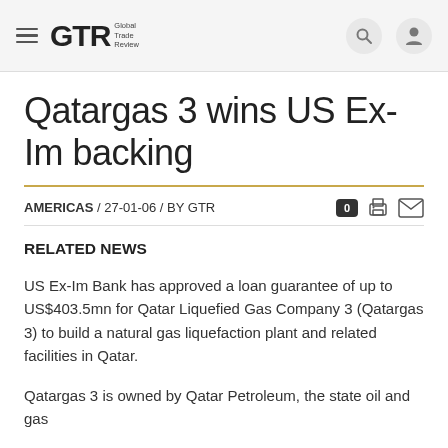GTR Global Trade Review
Qatargas 3 wins US Ex-Im backing
AMERICAS / 27-01-06 / BY GTR
RELATED NEWS
US Ex-Im Bank has approved a loan guarantee of up to US$403.5mn for Qatar Liquefied Gas Company 3 (Qatargas 3) to build a natural gas liquefaction plant and related facilities in Qatar.
Qatargas 3 is owned by Qatar Petroleum, the state oil and gas